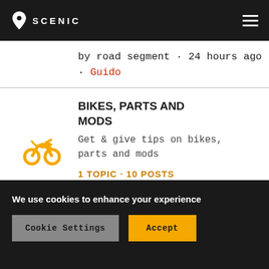SCENIC
by road segment · 24 hours ago · Guido
BIKES, PARTS AND MODS
Get & give tips on bikes, parts and mods
1 TOPIC · 10 POSTS
Last post: More ground clearance for Yamaha F
We use cookies to enhance your experience
Cookie Settings
Accept